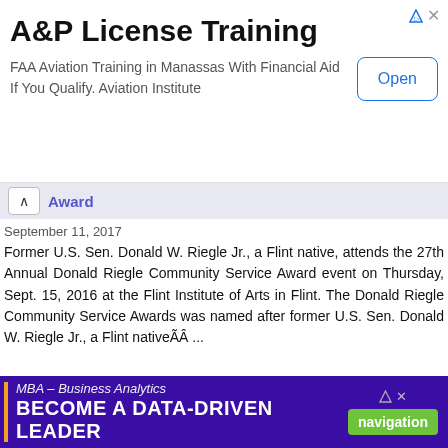[Figure (screenshot): Advertisement banner: A&P License Training. FAA Aviation Training in Manassas With Financial Aid If You Qualify. Aviation Institute. Open button.]
Award
September 11, 2017
Former U.S. Sen. Donald W. Riegle Jr., a Flint native, attends the 27th Annual Donald Riegle Community Service Award event on Thursday, Sept. 15, 2016 at the Flint Institute of Arts in Flint. The Donald Riegle Community Service Awards was named after former U.S. Sen. Donald W. Riegle Jr., a Flint nativeÃÂ ...
Rizzo star witness sours on feds, gets indicted
The Detroit News
May 31, 2017
Richard Secord during the Iran-Contra affair and ex-U.S. Sen. Donald Riegle Jr. of Michigan, a member of the Keating Five in the savings-and-loan crisis in the 1980s. Green did not respond to a message seeking comment Wednesday. “The government may have gotten everything it needs out of Rizzo,”ÃÂ ...
[Figure (screenshot): Advertisement banner: MBA – Business Analytics. BECOME A DATA-DRIVEN LEADER. Navigation button.]